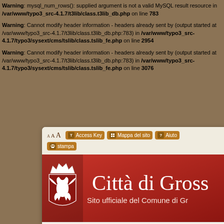Warning: mysql_num_rows(): supplied argument is not a valid MySQL result resource in /var/www/typo3_src-4.1.7/t3lib/class.t3lib_db.php on line 783
Warning: Cannot modify header information - headers already sent by (output started at /var/www/typo3_src-4.1.7/t3lib/class.t3lib_db.php:783) in /var/www/typo3_src-4.1.7/typo3/sysext/cms/tslib/class.tslib_fe.php on line 2954
Warning: Cannot modify header information - headers already sent by (output started at /var/www/typo3_src-4.1.7/t3lib/class.t3lib_db.php:783) in /var/www/typo3_src-4.1.7/typo3/sysext/cms/tslib/class.tslib_fe.php on line 3076
[Figure (screenshot): Browser toolbar showing A A A font size buttons, and orange buttons: T Access Key, sitemap icon Mappa del sito, ? Aiuto, printer icon stampa]
[Figure (screenshot): Red banner header for Città di Grosseto website with crown and griffin coat of arms shield. Text: Città di Gross... and Sito ufficiale del Comune di Gr...]
Aspettando il nuovo sito